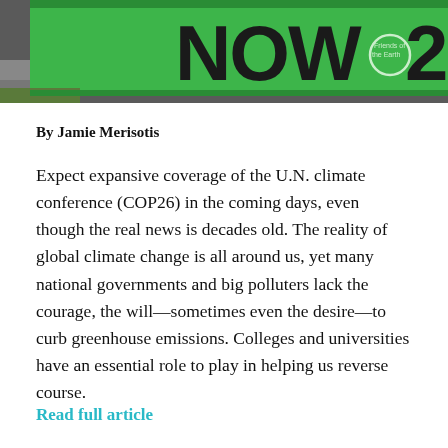[Figure (photo): Green protest banner reading 'NOW' with 'Friends of the Earth' logo visible on the right side, against a grass background]
By Jamie Merisotis
Expect expansive coverage of the U.N. climate conference (COP26) in the coming days, even though the real news is decades old. The reality of global climate change is all around us, yet many national governments and big polluters lack the courage, the will—sometimes even the desire—to curb greenhouse emissions. Colleges and universities have an essential role to play in helping us reverse course.
Read full article